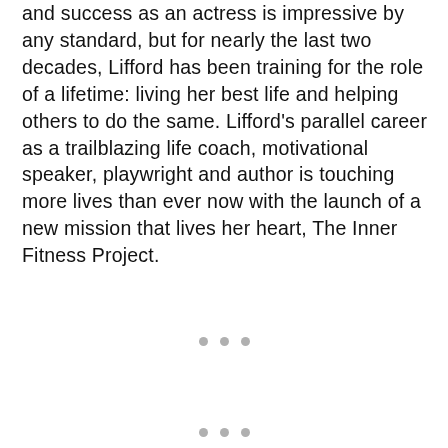and success as an actress is impressive by any standard, but for nearly the last two decades, Lifford has been training for the role of a lifetime: living her best life and helping others to do the same. Lifford's parallel career as a trailblazing life coach, motivational speaker, playwright and author is touching more lives than ever now with the launch of a new mission that lives her heart, The Inner Fitness Project.
[Figure (other): Three small grey decorative dots centered on the page]
[Figure (other): Three small grey decorative dots centered near the bottom of the page]